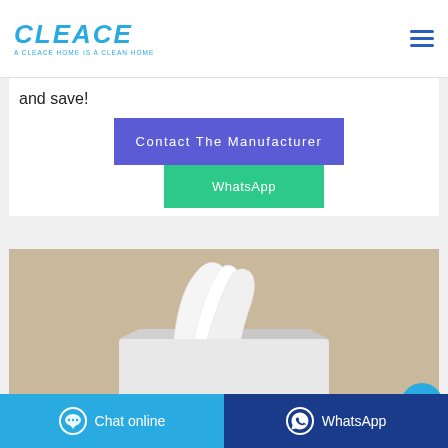CLEACE — A CLEACE HOME IS A CLEAN HOME
and save!
Contact The Manufacturer
WhatsApp
[Figure (photo): A box of white facial tissues on a beige/tan background, with tissues pulled out from the top]
Chat online | WhatsApp